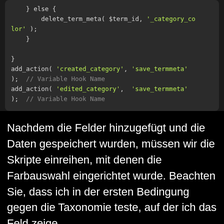[Figure (screenshot): Code block showing PHP code with else block containing delete_term_meta call, closing brace, add_action calls for created_category and edited_category hooks with save_termmeta]
Nachdem die Felder hinzugefügt und die Daten gespeichert wurden, müssen wir die Skripte einreihen, mit denen die Farbauswahl eingerichtet wurde. Beachten Sie, dass ich in der ersten Bedingung gegen die Taxonomie teste, auf der ich das Feld zeige.
[Figure (screenshot): Code block showing start of PHP docblock comment: /** * Enqueue colorpicker styles and scripts. * - https://developer.wordpress.org/reference/ho]